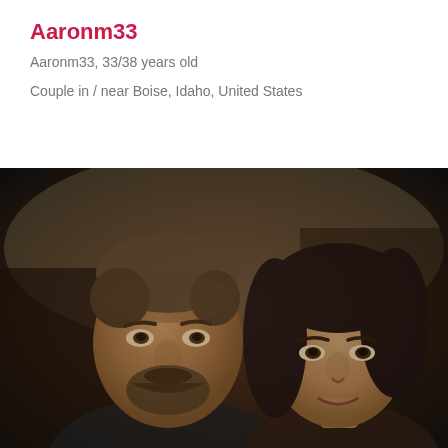Aaronm33
Aaronm33, 33/38 years old
Couple in / near Boise, Idaho, United States
[Figure (photo): A couple posing for a photo indoors. On the left is a middle-aged man with short graying hair, a beard and mustache, looking directly at the camera. On the right is a woman with dark shoulder-length hair with bangs, smiling slightly. The background is dark.]